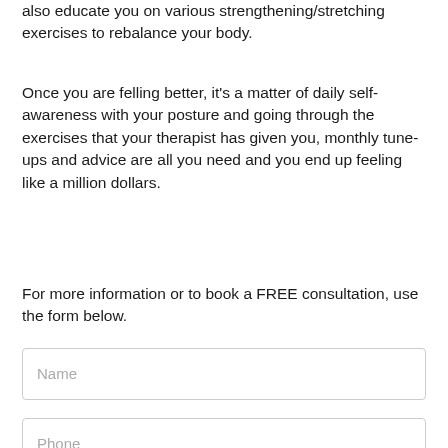also educate you on various strengthening/stretching exercises to rebalance your body.
Once you are felling better, it's a matter of daily self-awareness with your posture and going through the exercises that your therapist has given you, monthly tune-ups and advice are all you need and you end up feeling like a million dollars.
For more information or to book a FREE consultation, use the form below.
.
[Figure (other): Form input field with placeholder text 'Name']
[Figure (other): Form input field with placeholder text 'Phone']